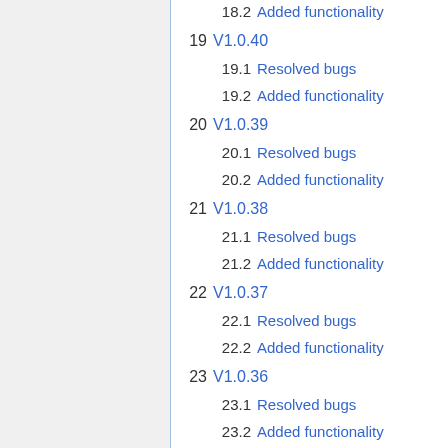18.2  Added functionality
19  V1.0.40
19.1  Resolved bugs
19.2  Added functionality
20  V1.0.39
20.1  Resolved bugs
20.2  Added functionality
21  V1.0.38
21.1  Resolved bugs
21.2  Added functionality
22  V1.0.37
22.1  Resolved bugs
22.2  Added functionality
23  V1.0.36
23.1  Resolved bugs
23.2  Added functionality
24  V1.0.35
24.1  Resolved bugs
24.2  Added functionality
25  V1.0.34
25.1  Resolved bugs